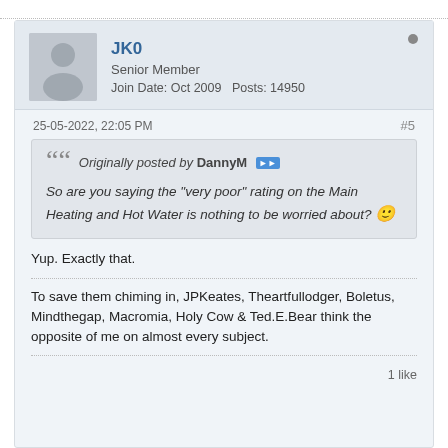JK0
Senior Member
Join Date: Oct 2009   Posts: 14950
25-05-2022, 22:05 PM
#5
Originally posted by DannyM
So are you saying the "very poor" rating on the Main Heating and Hot Water is nothing to be worried about?
Yup. Exactly that.
To save them chiming in, JPKeates, Theartfullodger, Boletus, Mindthegap, Macromia, Holy Cow & Ted.E.Bear think the opposite of me on almost every subject.
1 like